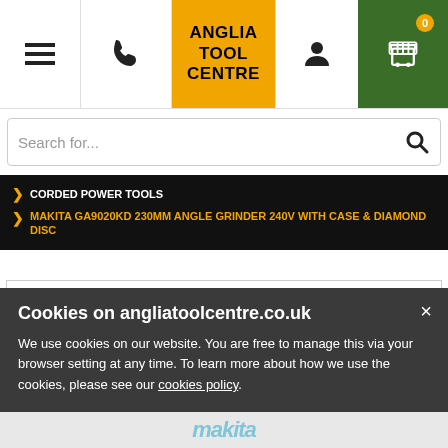ANGLIA TOOL CENTRE
Search for...
CORDED POWER TOOLS > MAKITA GA9020KD 230MM ANGLE GRINDER 240V WITH CASE & DIAMOND DISC
[Figure (screenshot): White product image placeholder box]
Cookies on angliatoolcentre.co.uk
We use cookies on our website. You are free to manage this via your browser setting at any time. To learn more about how we use the cookies, please see our cookies policy.